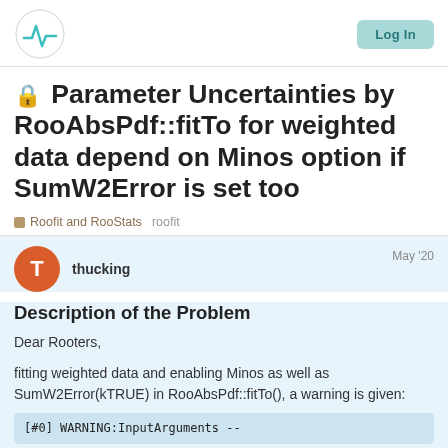Logo | Log In
🔒 Parameter Uncertainties by RooAbsPdf::fitTo for weighted data depend on Minos option if SumW2Error is set too
Roofit and RooStats   roofit
thucking   May '20
Description of the Problem
Dear Rooters,
fitting weighted data and enabling Minos as well as SumW2Error(kTRUE) in RooAbsPdf::fitTo(), a warning is given:
[#0] WARNING:InputArguments --
1 / 7